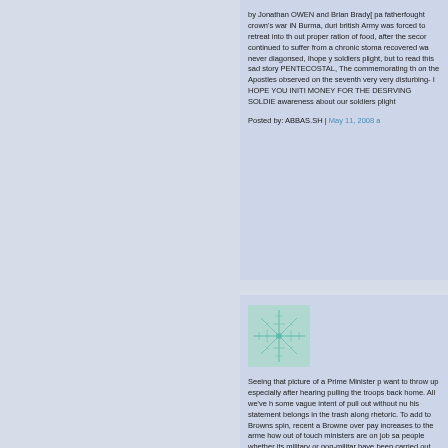by Jonathan OWEN and Brian Brady[ pa fatherfought crown's war iN Burma, duri british Army was forced to retreat into th out proper ration of food, after the secor continued to suffer from a chronic stoma recovered wa never diagonsed, Ihope y soldiers plight, but to read this sad story PENTECOSTAL, The commemorating th on the Apostles observed on the seventh very very disturbing- I HOPE YOU INITI MONEY FOR THE DESRVING SOLDIE awareness about our soldiers plight
Posted by: ABBAS.SH | May 11, 2008 a
[Figure (illustration): A square avatar image with a teal/green crystalline or snowflake-like design on a light background]
Seeing that picture of a Prime Minister p want to throw up especially after hearing pulling the troops back home. All we've h some vague intent of pull out without nu his statement belongs in the trash along rhetoric. To add to Browns spin, recent a Browne over pay increases to the arme how out of touch ministers are on job sa people whether its military or non-militar have been carried out on the main facto